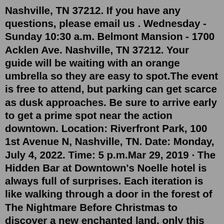Nashville, TN 37212. If you have any questions, please email us . Wednesday - Sunday 10:30 a.m. Belmont Mansion - 1700 Acklen Ave. Nashville, TN 37212. Your guide will be waiting with an orange umbrella so they are easy to spot.The event is free to attend, but parking can get scarce as dusk approaches. Be sure to arrive early to get a prime spot near the action downtown. Location: Riverfront Park, 100 1st Avenue N, Nashville, TN. Date: Monday, July 4, 2022. Time: 5 p.m.Mar 29, 2019 · The Hidden Bar at Downtown's Noelle hotel is always full of surprises. Each iteration is like walking through a door in the forest of The Nightmare Before Christmas to discover a new enchanted land, only this time the look of the door remains the same. The Christmas bar over the holidays, Miracle, was certainly magical (and popular) and while their newest concept, Lautrec, is more subdued ... That's what will happen when a speakeasy will open in December in Nashville. Red Phone Booth is open in a 100+ year old rehabbed building...